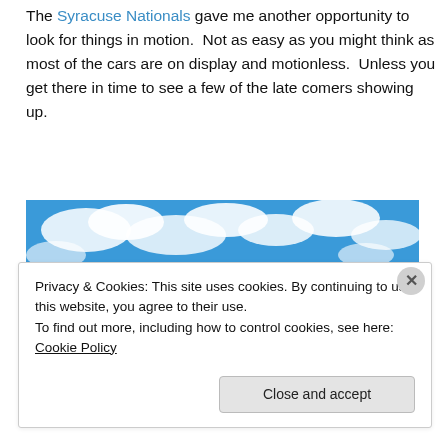The Syracuse Nationals gave me another opportunity to look for things in motion. Not as easy as you might think as most of the cars are on display and motionless. Unless you get there in time to see a few of the late comers showing up.
[Figure (photo): Blurred motion photo of colorful cars at the Syracuse Nationals car show, with a green-roofed building and bright blue sky with white clouds in the background.]
Privacy & Cookies: This site uses cookies. By continuing to use this website, you agree to their use.
To find out more, including how to control cookies, see here: Cookie Policy
Close and accept